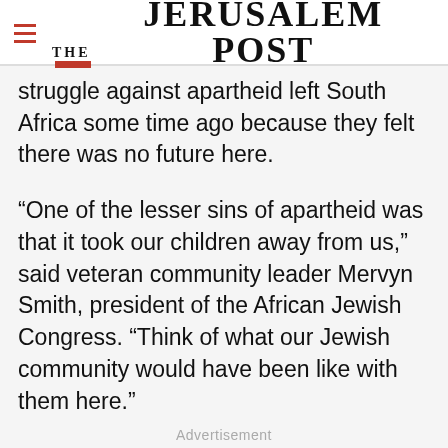THE JERUSALEM POST
struggle against apartheid left South Africa some time ago because they felt there was no future here.
“One of the lesser sins of apartheid was that it took our children away from us,” said veteran community leader Mervyn Smith, president of the African Jewish Congress. “Think of what our Jewish community would have been like with them here.”
Advertisement